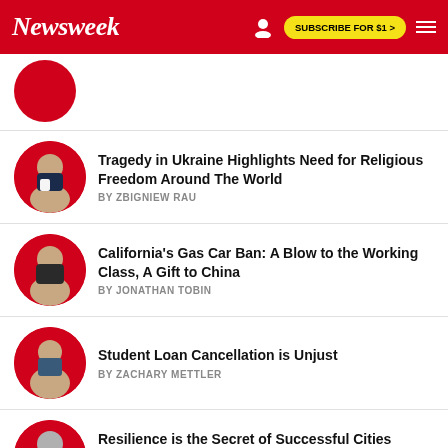Newsweek | SUBSCRIBE FOR $1 >
Tragedy in Ukraine Highlights Need for Religious Freedom Around The World — BY ZBIGNIEW RAU
California's Gas Car Ban: A Blow to the Working Class, A Gift to China — BY JONATHAN TOBIN
Student Loan Cancellation is Unjust — BY ZACHARY METTLER
Resilience is the Secret of Successful Cities Everywhere — BY DAVID THOM
Time to Give Our Afghan Allies a Permanent…